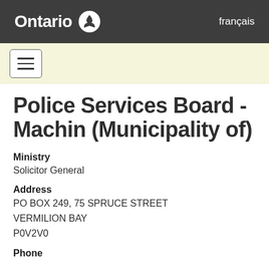Ontario | français
Police Services Board - Machin (Municipality of)
Ministry
Solicitor General
Address
PO BOX 249, 75 SPRUCE STREET
VERMILION BAY
P0V2V0
Phone